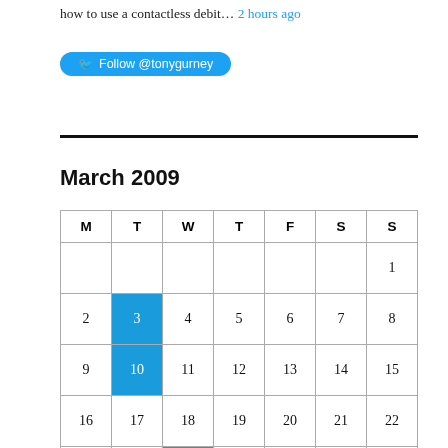how to use a contactless debit… 2 hours ago
Follow @tonygurney
March 2009
| M | T | W | T | F | S | S |
| --- | --- | --- | --- | --- | --- | --- |
|  |  |  |  |  |  | 1 |
| 2 | 3 | 4 | 5 | 6 | 7 | 8 |
| 9 | 10 | 11 | 12 | 13 | 14 | 15 |
| 16 | 17 | 18 | 19 | 20 | 21 | 22 |
| 23 | 24 | 25 | 26 | 27 | 28 | 29 |